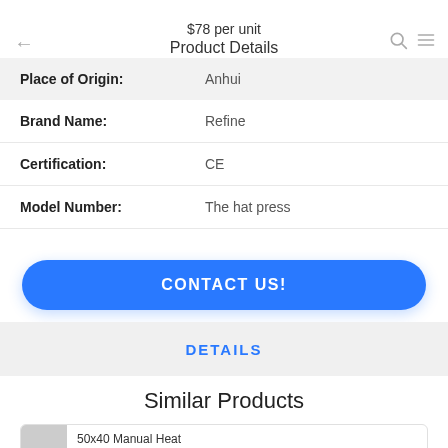$78 per unit
Product Details
| Field | Value |
| --- | --- |
| Place of Origin: | Anhui |
| Brand Name: | Refine |
| Certification: | CE |
| Model Number: | The hat press |
CONTACT US!
DETAILS
Similar Products
50x40 Manual Heat